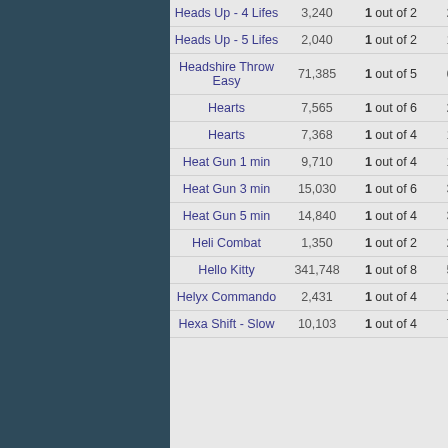| Name | Score | Odds | Players |  |
| --- | --- | --- | --- | --- |
| Heads Up - 4 Lifes | 3,240 | 1 out of 2 | 297 | 69 |
| Heads Up - 5 Lifes | 2,040 | 1 out of 2 | 183 | 4 |
| Headshire Throw Easy | 71,385 | 1 out of 5 | 677 | 25 |
| Hearts | 7,565 | 1 out of 6 | 275 | 19 |
| Hearts | 7,368 | 1 out of 4 | 162 | 18 |
| Heat Gun 1 min | 9,710 | 1 out of 4 | 109 | 93 |
| Heat Gun 3 min | 15,030 | 1 out of 6 | 324 | 99 |
| Heat Gun 5 min | 14,840 | 1 out of 4 | 365 | 99 |
| Heli Combat | 1,350 | 1 out of 2 | 275 | 14 |
| Hello Kitty | 341,748 | 1 out of 8 | 588 | 19 |
| Helyx Commando | 2,431 | 1 out of 4 | 230 | 98 |
| Hexa Shift - Slow | 10,103 | 1 out of 4 | 756 | 19 |